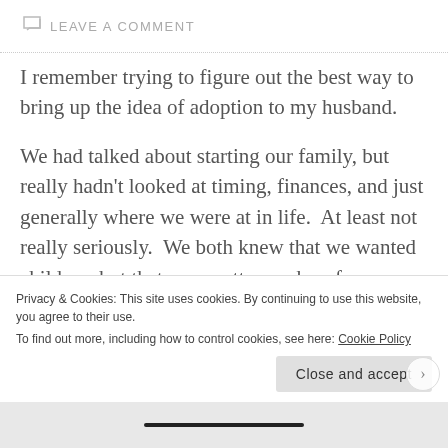LEAVE A COMMENT
I remember trying to figure out the best way to bring up the idea of adoption to my husband.
We had talked about starting our family, but really hadn't looked at timing, finances, and just generally where we were at in life.  At least not really seriously.  We both knew that we wanted children, but that was pretty much as far as we had gotten.  So I had been walking around with it (the idea of adopting) in my head for almost a month.  Actually, I had wanted to
Privacy & Cookies: This site uses cookies. By continuing to use this website, you agree to their use.
To find out more, including how to control cookies, see here: Cookie Policy
Close and accept